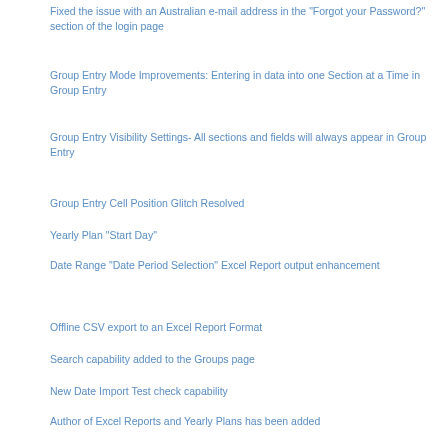Fixed the issue with an Australian e-mail address in the "Forgot your Password?" section of the login page
Group Entry Mode Improvements: Entering in data into one Section at a Time in Group Entry
Group Entry Visibility Settings- All sections and fields will always appear in Group Entry
Group Entry Cell Position Glitch Resolved
Yearly Plan "Start Day"
Date Range "Date Period Selection" Excel Report output enhancement
Offline CSV export to an Excel Report Format
Search capability added to the Groups page
New Date Import Test check capability
Author of Excel Reports and Yearly Plans has been added